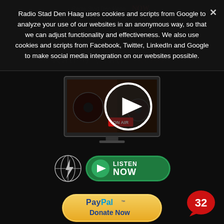Radio Stad Den Haag uses cookies and scripts from Google to analyze your use of our websites in an anonymous way, so that we can adjust functionality and effectiveness. We also use cookies and scripts from Facebook, Twitter, LinkedIn and Google to make social media integration on our websites possible.
[Figure (screenshot): Video player showing a DJ desk with 'ON AIR' display and a play button overlay]
[Figure (screenshot): Radio Stad Den Haag globe logo and green Listen Now button]
[Figure (screenshot): PayPal Donate Now button (yellow/gold gradient)]
[Figure (illustration): Red speech bubble with number 32 (chat/comment count)]